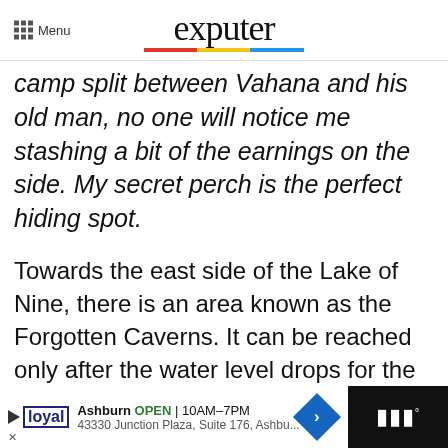Menu | exputer
camp split between Vahana and his old man, no one will notice me stashing a bit of the earnings on the side. My secret perch is the perfect hiding spot.
Towards the east side of the Lake of Nine, there is an area known as the Forgotten Caverns. It can be reached only after the water level drops for the first time. Head inside these caves, and you should find the map next to a Mystic Gateway.
Ashburn OPEN 10AM–7PM | 43330 Junction Plaza, Suite 176, Ashbu...